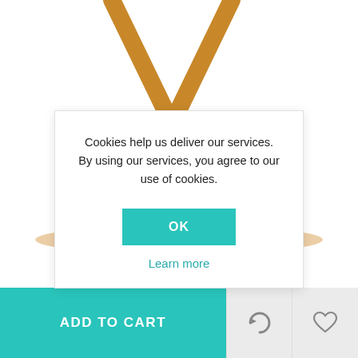[Figure (photo): Product photo of a wooden X-frame folding stool or side table with bamboo/wood crossbar legs, shown against a white background.]
Outc
$16
Cookies help us deliver our services. By using our services, you agree to our use of cookies.
OK
Learn more
ADD TO CART